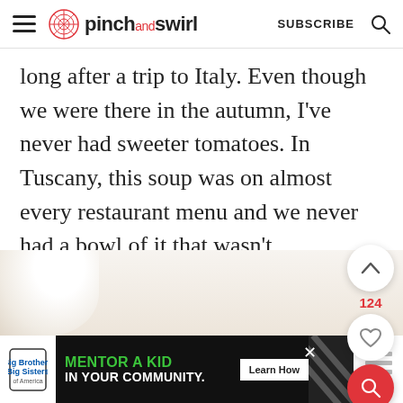pinch and swirl — SUBSCRIBE
long after a trip to Italy. Even though we were there in the autumn, I've never had sweeter tomatoes. In Tuscany, this soup was on almost every restaurant menu and we never had a bowl of it that wasn't memorably delicious. After our trip, I was delighted to discover how easy it is to make at home.
[Figure (photo): Partial view of a bowl of creamy soup, light colored]
[Figure (infographic): Advertisement banner: Big Brothers Big Sisters - MENTOR A KID IN YOUR COMMUNITY. Learn How button.]